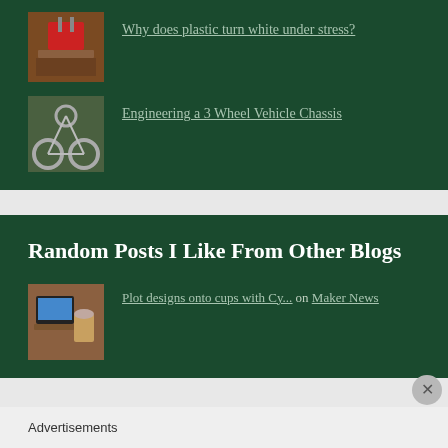[Figure (photo): Thumbnail image of a red electronic/robotic device on a wooden surface]
Why does plastic turn white under stress?
[Figure (photo): Thumbnail image of a 3-wheel vehicle chassis made of metal tubes]
Engineering a 3 Wheel Vehicle Chassis
Random Posts I Like From Other Blogs
[Figure (photo): Thumbnail image of a laptop and cup on a wooden table]
Plot designs onto cups with Cy... on Maker News
Advertisements